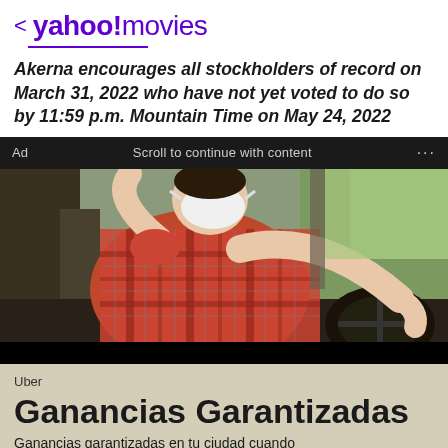< yahoo!movies
Akerna encourages all stockholders of record on March 31, 2022 who have not yet voted to do so by 11:59 p.m. Mountain Time on May 24, 2022
Ad   Scroll to continue with content   ...
[Figure (photo): Person wearing a white mask and red plaid shirt driving a car, leaning on the steering wheel]
Uber
Ganancias Garantizadas
Ganancias garantizadas en tu ciudad cuando